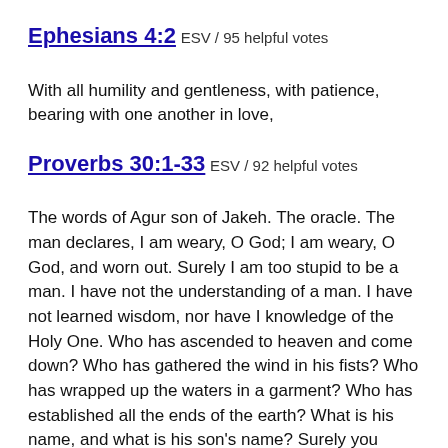Ephesians 4:2 ESV / 95 helpful votes
With all humility and gentleness, with patience, bearing with one another in love,
Proverbs 30:1-33 ESV / 92 helpful votes
The words of Agur son of Jakeh. The oracle. The man declares, I am weary, O God; I am weary, O God, and worn out. Surely I am too stupid to be a man. I have not the understanding of a man. I have not learned wisdom, nor have I knowledge of the Holy One. Who has ascended to heaven and come down? Who has gathered the wind in his fists? Who has wrapped up the waters in a garment? Who has established all the ends of the earth? What is his name, and what is his son's name? Surely you know! Every word of God proves true; he is a shield to those who take refuge in him. ...
John 3:16-17 ESV / 90 helpful votes
“For God so loved the world, that he gave his only Son